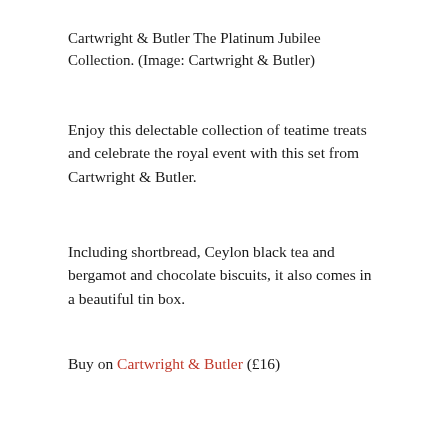Cartwright & Butler The Platinum Jubilee Collection. (Image: Cartwright & Butler)
Enjoy this delectable collection of teatime treats and celebrate the royal event with this set from Cartwright & Butler.
Including shortbread, Ceylon black tea and bergamot and chocolate biscuits, it also comes in a beautiful tin box.
Buy on Cartwright & Butler (£16)